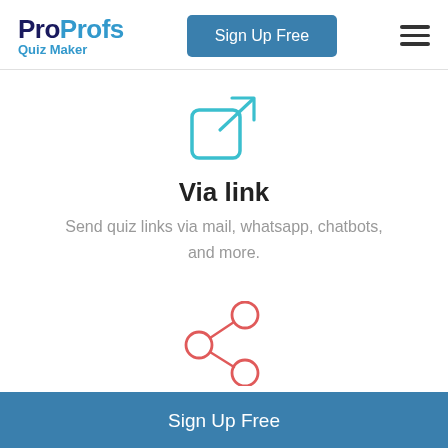ProProfs Quiz Maker | Sign Up Free
[Figure (illustration): External link icon: a rounded square with an arrow pointing to the upper right, in cyan/teal color]
Via link
Send quiz links via mail, whatsapp, chatbots, and more.
[Figure (illustration): Share icon: three circles connected by lines in a triangular arrangement, in coral/red color]
On Social Media
Sign Up Free